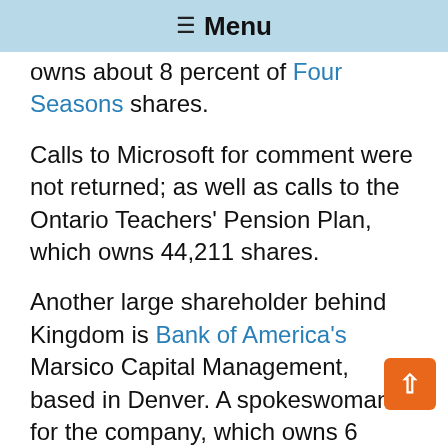≡ Menu
owns about 8 percent of Four Seasons shares.
Calls to Microsoft for comment were not returned; as well as calls to the Ontario Teachers' Pension Plan, which owns 44,211 shares.
Another large shareholder behind Kingdom is Bank of America's Marsico Capital Management, based in Denver. A spokeswoman for the company, which owns 6 million shares, or 16.4 percent, said they do not comment on potential